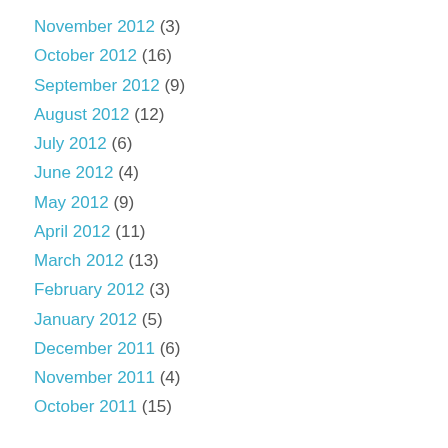November 2012 (3)
October 2012 (16)
September 2012 (9)
August 2012 (12)
July 2012 (6)
June 2012 (4)
May 2012 (9)
April 2012 (11)
March 2012 (13)
February 2012 (3)
January 2012 (5)
December 2011 (6)
November 2011 (4)
October 2011 (15)